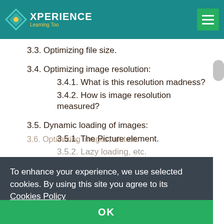XPERIENCE Learning Too
3.1. Edit an image's scale.
3.3. Optimizing file size.
3.4. Optimizing image resolution:
3.4.1. What is this resolution madness?
3.4.2. How is image resolution measured?
3.5. Dynamic loading of images:
3.5.1. The Picture element.
3.5.2. Lazy loading, etc.
To enhance your experience, we use selected cookies. By using this site you agree to its  Cookies Policy
OK